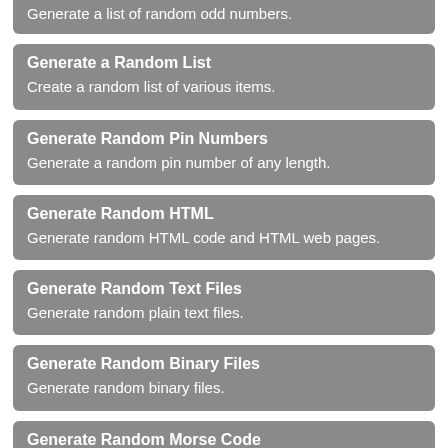Generate a list of random odd numbers.
Generate a Random List
Create a random list of various items.
Generate Random Pin Numbers
Generate a random pin number of any length.
Generate Random HTML
Generate random HTML code and HTML web pages.
Generate Random Text Files
Generate random plain text files.
Generate Random Binary Files
Generate random binary files.
Generate Random Morse Code